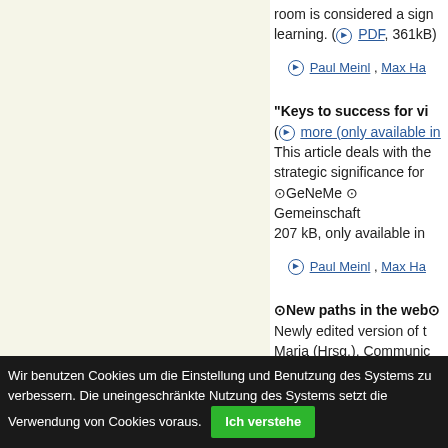room is considered a sign... learning. (⊙ PDF, 361kB)
⊙ Paul Meinl , Max Ha...
"Keys to success for vi...
(⊙ more (only available in...)
This article deals with the... strategic significance for ...
⊙GeNeMe ⊙ Gemeinschaft...
207 kB, only available in ...
⊙ Paul Meinl , Max Ha...
⊙New paths in the web⊙
Newly edited version of t...
Maria (Hrsg.), Communic...
Studienverlag 2004. (⊙ P...
⊙ Paul Meinl, Septem...
Wir benutzen Cookies um die Einstellung und Benutzung des Systems zu verbessern. Die uneingeschränkte Nutzung des Systems setzt die Verwendung von Cookies voraus. Ich verstehe